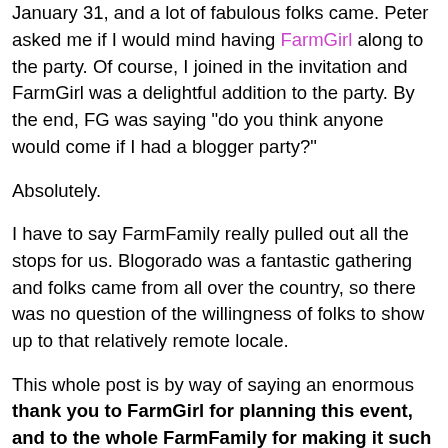January 31, and a lot of fabulous folks came. Peter asked me if I would mind having FarmGirl along to the party. Of course, I joined in the invitation and FarmGirl was a delightful addition to the party. By the end, FG was saying "do you think anyone would come if I had a blogger party?"
Absolutely.
I have to say FarmFamily really pulled out all the stops for us. Blogorado was a fantastic gathering and folks came from all over the country, so there was no question of the willingness of folks to show up to that relatively remote locale.
This whole post is by way of saying an enormous thank you to FarmGirl for planning this event, and to the whole FarmFamily for making it such a warm, memorable occasion.
FarmDad and aepilotJim and Old NFO set up the firing range. FarmDad is this incredibly resourceful fellow who has